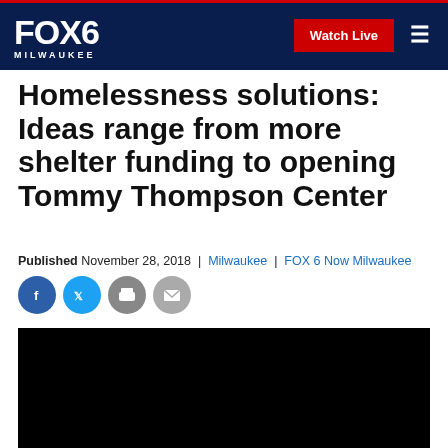FOX6 MILWAUKEE — Watch Live
Homelessness solutions: Ideas range from more shelter funding to opening Tommy Thompson Center
Published November 28, 2018 | Milwaukee | FOX 6 Now Milwaukee
[Figure (other): Social sharing icons: Facebook, Twitter, Print, Email]
[Figure (photo): Black video player placeholder]